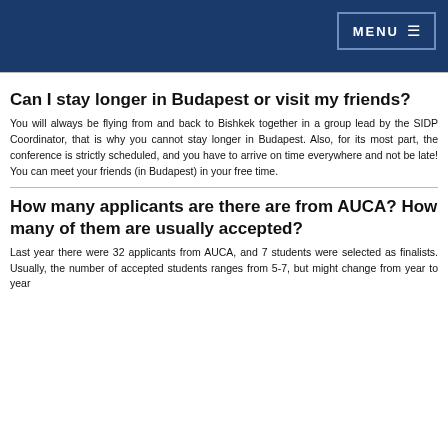MENU
Can I stay longer in Budapest or visit my friends?
You will always be flying from and back to Bishkek together in a group lead by the SIDP Coordinator, that is why you cannot stay longer in Budapest. Also, for its most part, the conference is strictly scheduled, and you have to arrive on time everywhere and not be late! You can meet your friends (in Budapest) in your free time.
How many applicants are there are from AUCA? How many of them are usually accepted?
Last year there were 32 applicants from AUCA, and 7 students were selected as finalists. Usually, the number of accepted students ranges from 5-7, but might change from year to year